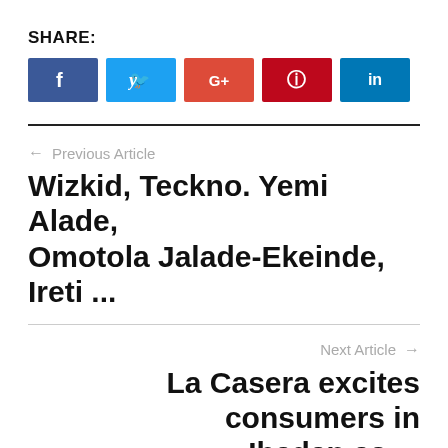SHARE:
[Figure (infographic): Social sharing buttons: Facebook (blue), Twitter (light blue), Google+ (red-orange), Pinterest (dark red), LinkedIn (dark blue)]
← Previous Article
Wizkid, Teckno. Yemi Alade, Omotola Jalade-Ekeinde, Ireti ...
Next Article →
La Casera excites consumers in Ibadan as ...